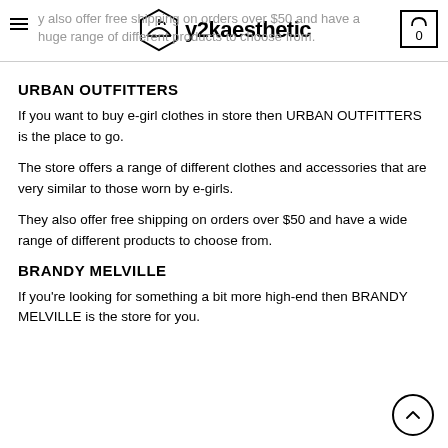y2kaesthetic — They also offer free shipping on orders over $50 and have a huge range of different products to choose from.
URBAN OUTFITTERS
If you want to buy e-girl clothes in store then URBAN OUTFITTERS is the place to go.
The store offers a range of different clothes and accessories that are very similar to those worn by e-girls.
They also offer free shipping on orders over $50 and have a wide range of different products to choose from.
BRANDY MELVILLE
If you're looking for something a bit more high-end then BRANDY MELVILLE is the store for you.